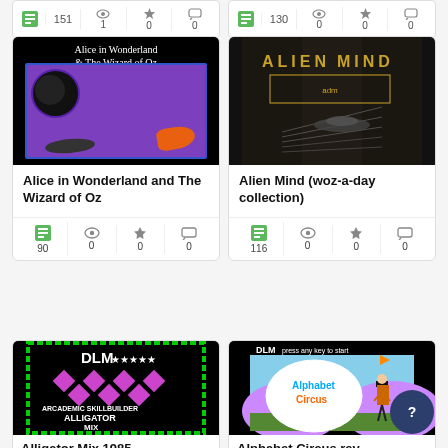[Figure (screenshot): Partial card row at top showing two software catalog entries with save/view/star/comment stats: 151/1/0 and 130/0/0]
[Figure (screenshot): Software catalog card: Alice in Wonderland and The Wizard of Oz, cover image showing teapot and shoe on colorful background, stats: 90 views, 0 stars, 0 comments]
Alice in Wonderland and The Wizard of Oz
[Figure (screenshot): Software catalog card: Alien Mind (woz-a-day collection), dark cover image with geometric lines and text logo, stats: 116 views, 0 stars, 0 comments]
Alien Mind (woz-a-day collection)
[Figure (screenshot): Software catalog card (partial): Alligator Mix 1985, DLM Arcademic Skillbuilder cover with pink diamond pattern on green border]
Alligator Mix 1985
[Figure (screenshot): Software catalog card (partial): Alphabet Circus rev., DLM cover with circus performer in top hat]
Alphabet Circus rev.